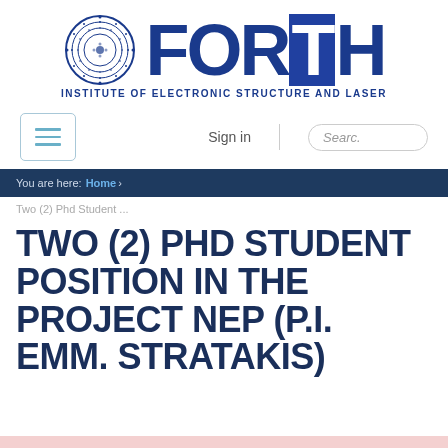[Figure (logo): FORTH Institute of Electronic Structure and Laser logo with circular emblem and FORTH text]
[Figure (screenshot): Navigation bar with hamburger menu, Sign in link, and Search box]
You are here: Home ›
Two (2) Phd Student ...
TWO (2) PHD STUDENT POSITION IN THE PROJECT NEP (P.I. EMM. STRATAKIS)